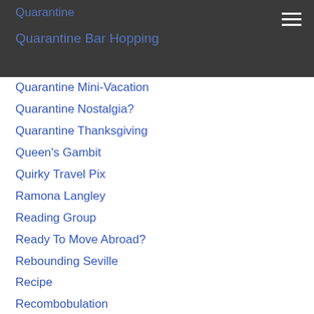Quarantine
Quarantine Bar Hopping
Quarantine Mini-Vacation
Quarantine Nostalgia?
Quarantine Thanksgiving
Queen's Gambit
Quirky Travel Pix
Ramona Langley
Reading Group
Ready To Move Abroad?
Rebounding Seville
Recipe
Recombobulation
Recycling
Red Underwear
Rennes-le-Chateau
Reptilians
Republic Of Užupis
Rescue Dogs